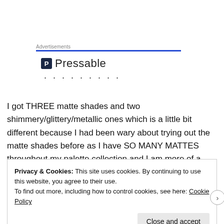Advertisements
[Figure (logo): Pressable logo with blue P icon and Pressable wordmark, followed by a row of dots]
I got THREE matte shades and two shimmery/glittery/metallic ones which is a little bit different because I had been wary about trying out the matte shades before as I have SO MANY MATTES throughout my palette collection and I am more of a sparkle girl myself. However
Privacy & Cookies: This site uses cookies. By continuing to use this website, you agree to their use.
To find out more, including how to control cookies, see here: Cookie Policy